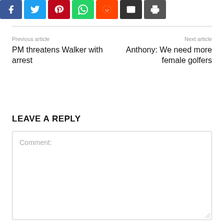[Figure (other): Social sharing buttons: Facebook (blue), Twitter (light blue), Pinterest (red), WhatsApp (green), Reddit (orange), Email (black), Print (dark gray)]
Previous article
PM threatens Walker with arrest
Next article
Anthony: We need more female golfers
LEAVE A REPLY
Comment: